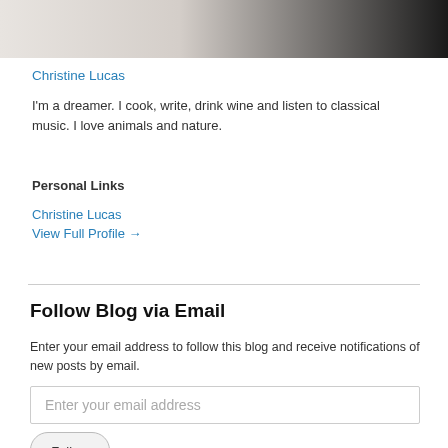[Figure (photo): Partial photo strip at top of page showing light and dark tones]
Christine Lucas
I'm a dreamer. I cook, write, drink wine and listen to classical music. I love animals and nature.
Personal Links
Christine Lucas
View Full Profile →
Follow Blog via Email
Enter your email address to follow this blog and receive notifications of new posts by email.
Enter your email address
Follow